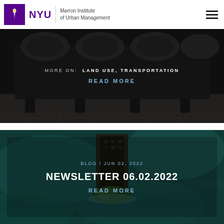NYU Marron Institute of Urban Management
[Figure (photo): Dark industrial/printing machine background with overlay text cards for a blog/article link about Land Use and Transportation]
MORE ON: LAND USE, TRANSPORTATION
READ MORE
[Figure (photo): Aerial view of a coastal island with turquoise water, dark overlay with blog post card for Newsletter 06.02.2022]
BLOG / JUN 02, 2022
NEWSLETTER 06.02.2022
READ MORE